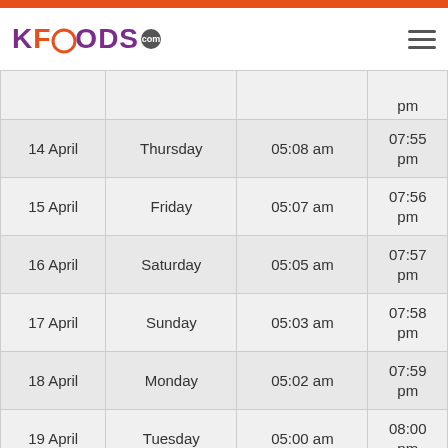KFOODS.com
| Date | Day | Sehri | Iftar |
| --- | --- | --- | --- |
| 14 April | Thursday | 05:08 am | 07:55 pm |
| 15 April | Friday | 05:07 am | 07:56 pm |
| 16 April | Saturday | 05:05 am | 07:57 pm |
| 17 April | Sunday | 05:03 am | 07:58 pm |
| 18 April | Monday | 05:02 am | 07:59 pm |
| 19 April | Tuesday | 05:00 am | 08:00 pm |